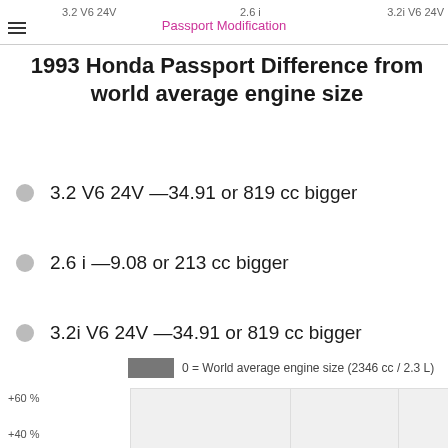3.2 V6 24V   2.6 i   3.2i V6 24V   Passport Modification
1993 Honda Passport Difference from world average engine size
3.2 V6 24V —34.91 or 819 cc bigger
2.6 i —9.08 or 213 cc bigger
3.2i V6 24V —34.91 or 819 cc bigger
0 = World average engine size (2346 cc / 2.3 L)